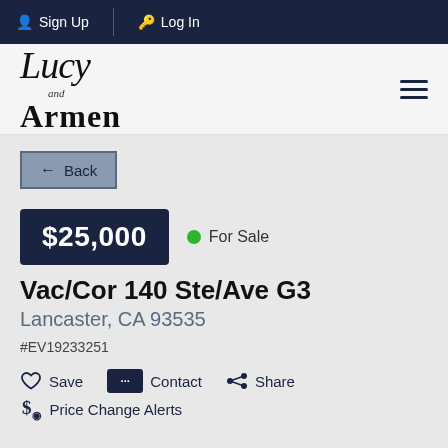Sign Up  Log In
[Figure (logo): Lucy and Armen real estate logo with script and serif typography]
← Back
$25,000  ● For Sale
Vac/Cor 140 Ste/Ave G3
Lancaster, CA 93535
#EV19233251
♡ Save  ⬜ Contact  ⬤ Share
$ Price Change Alerts